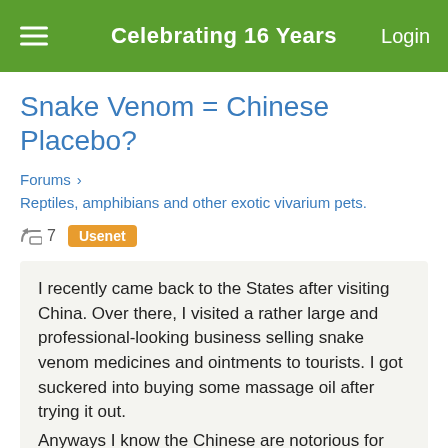Celebrating 16 Years  Login
Snake Venom = Chinese Placebo?
Forums > Reptiles, amphibians and other exotic vivarium pets.
7  Usenet
I recently came back to the States after visiting China. Over there, I visited a rather large and professional-looking business selling snake venom medicines and ointments to tourists. I got suckered into buying some massage oil after trying it out.
Anyways I know the Chinese are notorious for selling placebos, and just as notorious for believing their own con games. The lady that sold me the oil milked a snake infront of me (it had a pointy nose like a horn) and she milked the venom into a cup of moonshine.